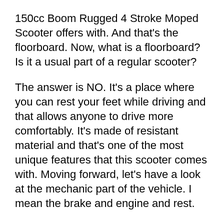150cc Boom Rugged 4 Stroke Moped Scooter offers with. And that's the floorboard. Now, what is a floorboard? Is it a usual part of a regular scooter?
The answer is NO. It's a place where you can rest your feet while driving and that allows anyone to drive more comfortably. It's made of resistant material and that's one of the most unique features that this scooter comes with. Moving forward, let's have a look at the mechanic part of the vehicle. I mean the brake and engine and rest.
First of all, the 150cc Boom Rugged 4 Stroke Moped Scooter comes with a front disc brake that's both durable and powerful at the same time. What they claim about the brake is, it can a great stopping power and it can stop the scooter when it's running at a good speed requirements. No matter